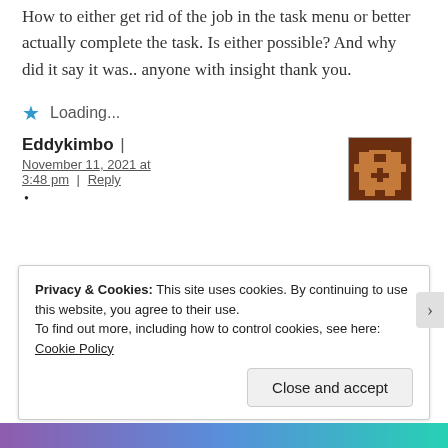How to either get rid of the job in the task menu or better actually complete the task. Is either possible? And why did it say it was.. anyone with insight thank you.
Loading...
Eddykimbo | November 11, 2021 at 3:48 pm | Reply
[Figure (photo): Pixel art avatar showing a brown character with a cross/plus symbol, on a dark brown background]
Privacy & Cookies: This site uses cookies. By continuing to use this website, you agree to their use. To find out more, including how to control cookies, see here: Cookie Policy
Close and accept